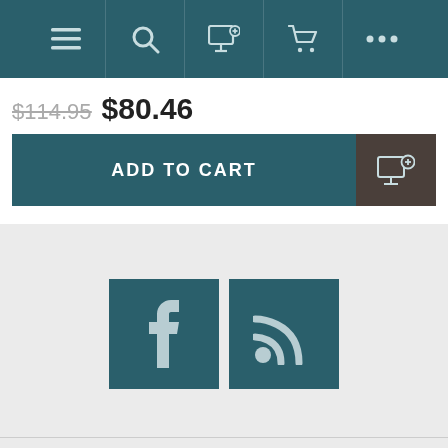[Figure (screenshot): Navigation bar with menu, search, add-to-list, cart, and more icons on teal background]
$114.95  $80.46
ADD TO CART
[Figure (screenshot): Facebook and RSS social media icon buttons on gray background]
INFORMATION
MY ACCOUNT